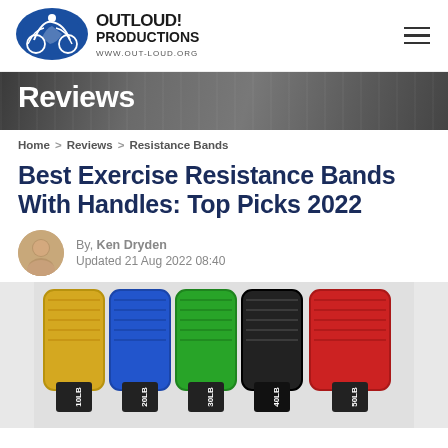[Figure (logo): Outloud! Productions logo — blue circle with cycling/sports figures, bold text OUTLOUD! PRODUCTIONS, www.out-loud.org]
[Figure (photo): Hero banner with cycling race crowd in background, dark overlay]
Reviews
Home > Reviews > Resistance Bands
Best Exercise Resistance Bands With Handles: Top Picks 2022
By, Ken Dryden
Updated 21 Aug 2022 08:40
[Figure (photo): Colorful resistance bands with handles arranged in a row showing 10LB, 20LB, 30LB, 40LB, 50LB weights in yellow, blue, green, black, and red colors]